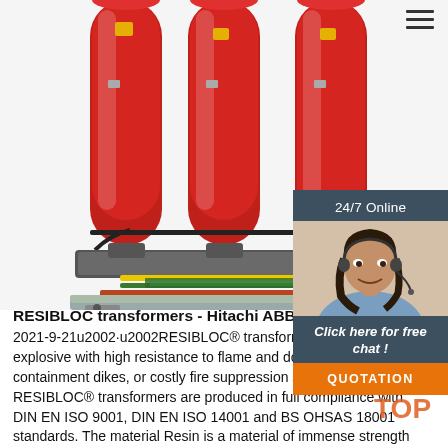[Figure (photo): Red three-phase dry-type RESIBLOC transformer with exposed lower wiring and mounting base, viewed from front.]
[Figure (infographic): 24/7 Online chat widget with agent photo, 'Click here for free chat!' text, and orange QUOTATION button.]
RESIBLOC transformers - Hitachi ABB Pow...
2021-9-21u2002·u2002RESIBLOC® transformers are non-explosive with high resistance to flame and do not require vaults, containment dikes, or costly fire suppression systems. RESIBLOC® transformers are produced in full compliance with DIN EN ISO 9001, DIN EN ISO 14001 and BS OHSAS 18001 standards. The material Resin is a material of immense strength